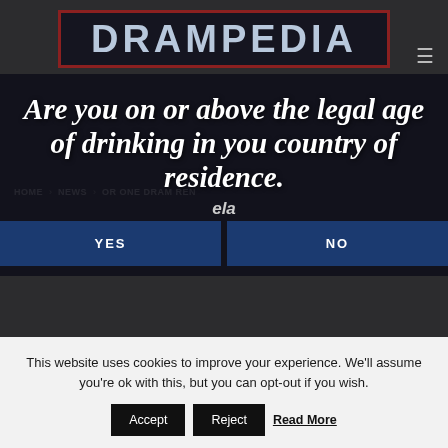[Figure (logo): DRAMPEDIA logo — dark navy background with dark red border, white bold text reading DRAMPEDIA]
Are you on or above the legal age of drinking in you country of residence.
HOME  NEWS  OR ONE DRAM N
YES
ela
NO
This website uses cookies to improve your experience. We'll assume you're ok with this, but you can opt-out if you wish.
Accept
Reject
Read More